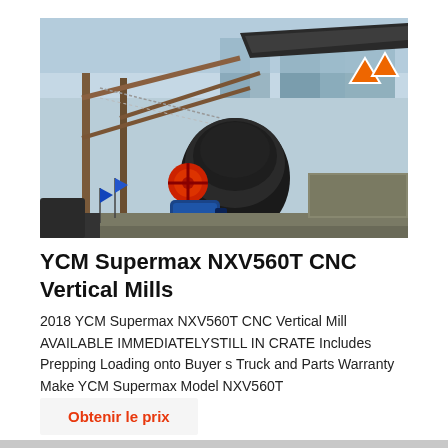[Figure (photo): Industrial mining/crushing equipment at a construction or quarry site, showing crusher machinery, conveyor belts on a steel frame structure, blue electric motor, and red wheel mechanism. Background shows blue sky and industrial buildings.]
YCM Supermax NXV560T CNC Vertical Mills
2018 YCM Supermax NXV560T CNC Vertical Mill AVAILABLE IMMEDIATELYSTILL IN CRATE Includes Prepping Loading onto Buyer s Truck and Parts Warranty Make YCM Supermax Model NXV560T
Obtenir le prix